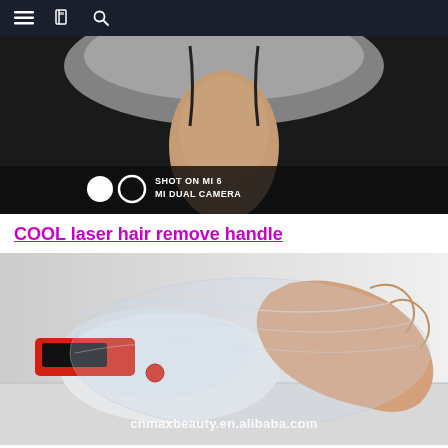Navigation bar with menu, book, and search icons
[Figure (photo): Video screenshot showing a person's neck/chin area with plastic wrap covering. Shot on Mi 6 MI DUAL CAMERA watermark visible in bottom left with two circles logo.]
COOL laser hair remove handle
[Figure (photo): Product photo showing a laser hair removal device with red and black coloring, wrapped in clear plastic wrap, being held by a hand. Watermark text: cnmaxbeauty.en.alibaba.com]